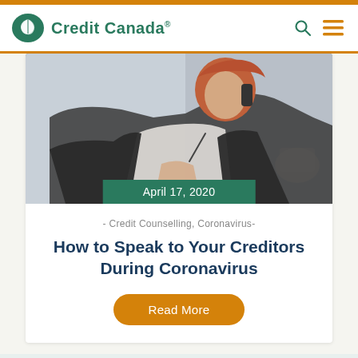Credit Canada
[Figure (photo): Woman talking on phone while writing, wearing black jacket and white shirt, red hair, coffee cup in background. Date overlay: April 17, 2020]
April 17, 2020
- Credit Counselling, Coronavirus-
How to Speak to Your Creditors During Coronavirus
Read More
f  twitter  in